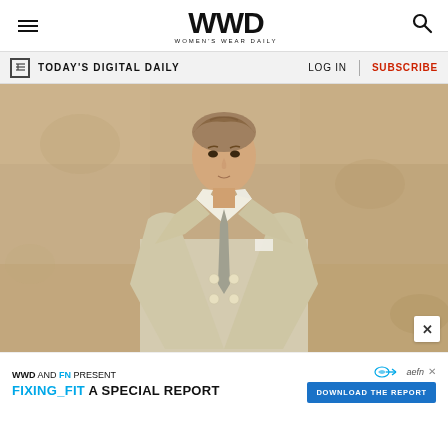WWD Women's Wear Daily
TODAY'S DIGITAL DAILY   LOG IN   SUBSCRIBE
[Figure (photo): Male model wearing a light beige/cream double-breasted suit with a grey tie and white dress shirt, standing against a textured stone-colored wall background.]
WWD AND FN PRESENT FIXING_FIT A SPECIAL REPORT DOWNLOAD THE REPORT